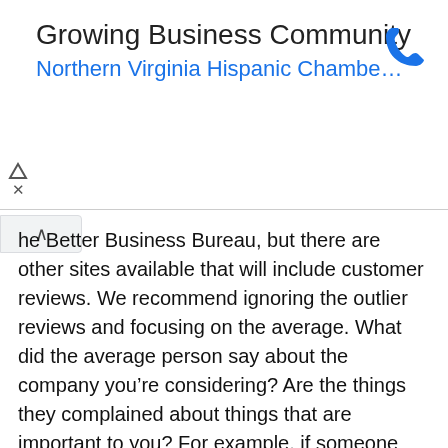[Figure (other): Advertisement banner for Growing Business Community - Northern Virginia Hispanic Chambe... with a phone icon]
he Better Business Bureau, but there are other sites available that will include customer reviews. We recommend ignoring the outlier reviews and focusing on the average. What did the average person say about the company you’re considering? Are the things they complained about things that are important to you? For example, if someone made a complaint that the company does not offer a mobile app but a mobile app isn’t important to you, do not consider that review in your assessment.
Get life insurance quotes: Always compare prices so you know if what you’ve found is the best life insurance policy at a competitive price. We recommend getting at least three quotes from different life insurance companies before making your final choice.